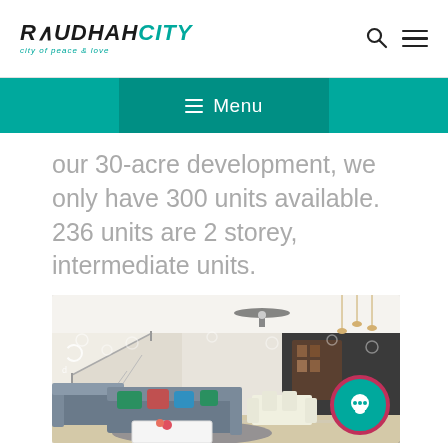RAUDHAH CITY — city of peace & love
Menu
our 30-acre development, we only have 300 units available. 236 units are 2 storey, intermediate units.
[Figure (photo): Interior living room of a modern 2-storey house unit showing sofa, coffee table, staircase with glass balustrade, dining area, and ceiling fan.]